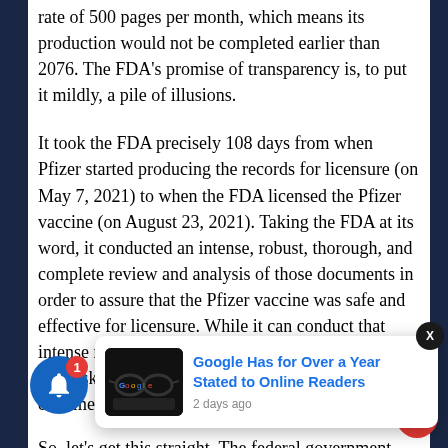rate of 500 pages per month, which means its production would not be completed earlier than 2076. The FDA's promise of transparency is, to put it mildly, a pile of illusions.
It took the FDA precisely 108 days from when Pfizer started producing the records for licensure (on May 7, 2021) to when the FDA licensed the Pfizer vaccine (on August 23, 2021). Taking the FDA at its word, it conducted an intense, robust, thorough, and complete review and analysis of those documents in order to assure that the Pfizer vaccine was safe and effective for licensure. While it can conduct that intense review of Pfizer's documents in 108 days, it now asks for over 20,000 days to release the same documents to the public.
So, let's get this straight. The federal government
[Figure (screenshot): Popup notification card with Google-branded glasses image and headline 'Google Has for Over a Year Stated to Online Readers', dated 2 days ago. Includes close (X) button and a blue notification bell icon with badge '1'.]